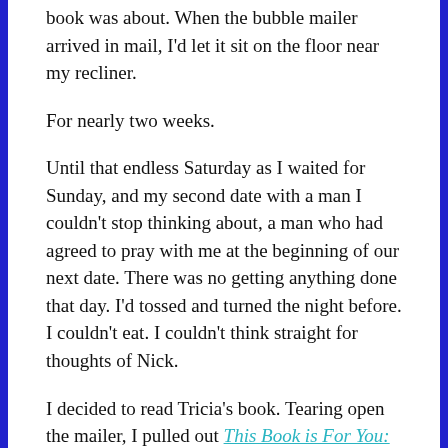book was about. When the bubble mailer arrived in mail, I'd let it sit on the floor near my recliner.
For nearly two weeks.
Until that endless Saturday as I waited for Sunday, and my second date with a man I couldn't stop thinking about, a man who had agreed to pray with me at the beginning of our next date. There was no getting anything done that day. I'd tossed and turned the night before. I couldn't eat. I couldn't think straight for thoughts of Nick.
I decided to read Tricia's book. Tearing open the mailer, I pulled out This Book is For You: Loving God's Words in Your Actual Life, and began